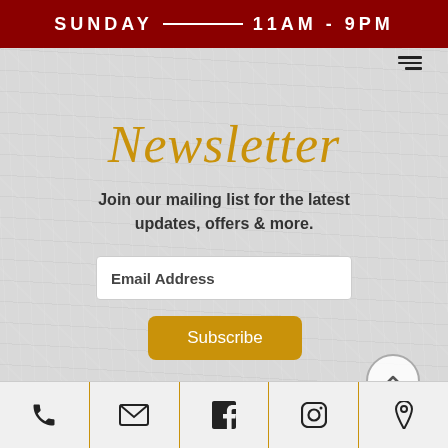SUNDAY   11AM - 9PM
Newsletter
Join our mailing list for the latest updates, offers & more.
Email Address
Subscribe
© 2022 By Pals Brewing Company. Designed by G3 Photography & Design.
[Figure (infographic): Bottom navigation bar with five icons: phone, email/envelope, Facebook, Instagram, and location pin, separated by vertical gold lines]